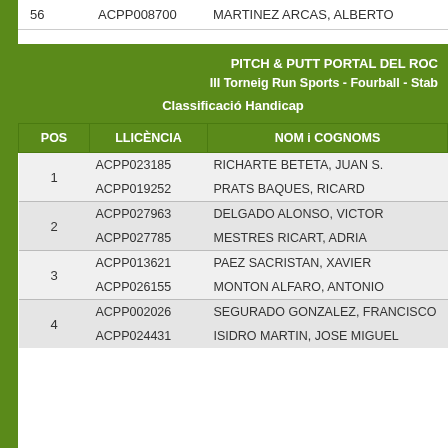| POS | LLICÈNCIA | NOM i COGNOMS |
| --- | --- | --- |
| 56 | ACPP008700 | MARTINEZ ARCAS, ALBERTO |
| 1 | ACPP023185 | RICHARTE BETETA, JUAN S. |
| 1 | ACPP019252 | PRATS BAQUES, RICARD |
| 2 | ACPP027963 | DELGADO ALONSO, VICTOR |
| 2 | ACPP027785 | MESTRES RICART, ADRIA |
| 3 | ACPP013621 | PAEZ SACRISTAN, XAVIER |
| 3 | ACPP026155 | MONTON ALFARO, ANTONIO |
| 4 | ACPP002026 | SEGURADO GONZALEZ, FRANCISCO |
| 4 | ACPP024431 | ISIDRO MARTIN, JOSE MIGUEL |
PITCH & PUTT PORTAL DEL ROC
III Torneig Run Sports - Fourball - Stab
Classificació Handicap